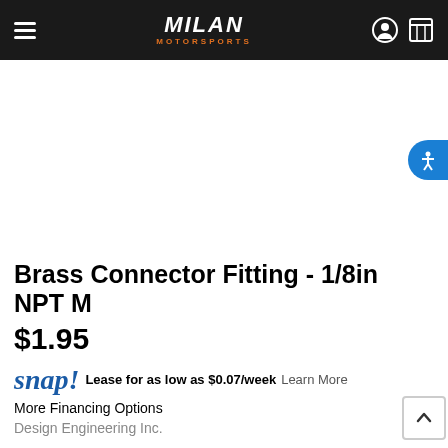MILAN MOTORSPORTS
Brass Connector Fitting - 1/8in NPT M
$1.95
snap! Lease for as low as $0.07/week Learn More
More Financing Options
Design Engineering Inc.